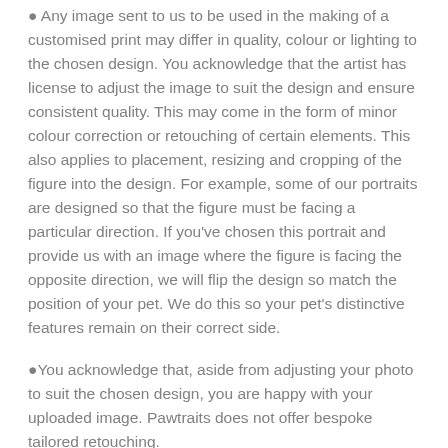Any image sent to us to be used in the making of a customised print may differ in quality, colour or lighting to the chosen design. You acknowledge that the artist has license to adjust the image to suit the design and ensure consistent quality. This may come in the form of minor colour correction or retouching of certain elements. This also applies to placement, resizing and cropping of the figure into the design. For example, some of our portraits are designed so that the figure must be facing a particular direction. If you've chosen this portrait and provide us with an image where the figure is facing the opposite direction, we will flip the design so match the position of your pet. We do this so your pet's distinctive features remain on their correct side.
You acknowledge that, aside from adjusting your photo to suit the chosen design, you are happy with your uploaded image. Pawtraits does not offer bespoke tailored retouching.
You are aware that Pawtraits does not offer proofs as it slows down delivery times.